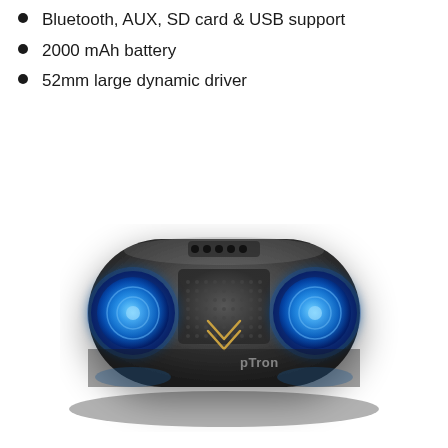Bluetooth, AUX, SD card & USB support
2000 mAh battery
52mm large dynamic driver
[Figure (photo): pTron branded Bluetooth speaker with dark gray body, two large blue-lit dynamic drivers on each end, five control buttons on top, center grille with decorative chevron/logo, and pTron branding text on the front.]